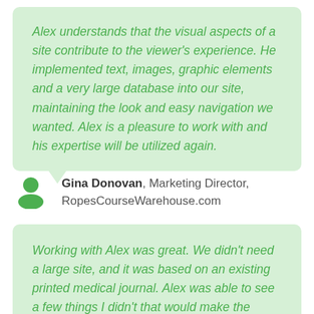Alex understands that the visual aspects of a site contribute to the viewer's experience. He implemented text, images, graphic elements and a very large database into our site, maintaining the look and easy navigation we wanted. Alex is a pleasure to work with and his expertise will be utilized again.
Gina Donovan, Marketing Director, RopesCourseWarehouse.com
Working with Alex was great. We didn't need a large site, and it was based on an existing printed medical journal. Alex was able to see a few things I didn't that would make the overall experience better for the viewer. And having a viewer experience that's pleasurable is paramount in designing for the web. I highly